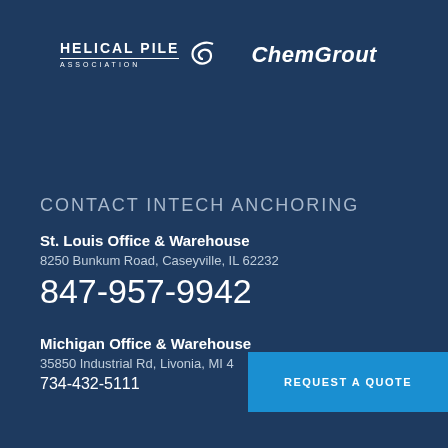[Figure (logo): Helical Pile Association logo with stylized swirl icon and ChemGrout logo]
CONTACT INTECH ANCHORING
St. Louis Office & Warehouse
8250 Bunkum Road, Caseyville, IL 62232
847-957-9942
Michigan Office & Warehouse
35850 Industrial Rd, Livonia, MI 4
734-432-5111
REQUEST A QUOTE